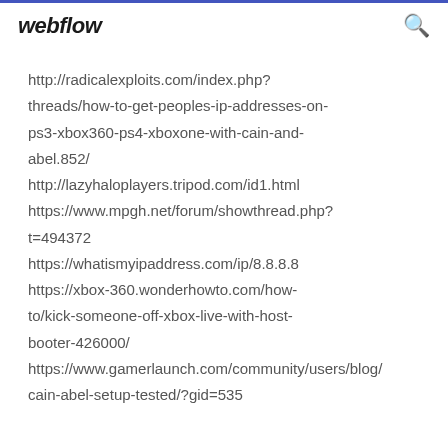webflow
http://radicalexploits.com/index.php?threads/how-to-get-peoples-ip-addresses-on-ps3-xbox360-ps4-xboxone-with-cain-and-abel.852/
http://lazyhaloplayers.tripod.com/id1.html
https://www.mpgh.net/forum/showthread.php?t=494372
https://whatismyipaddress.com/ip/8.8.8.8
https://xbox-360.wonderhowto.com/how-to/kick-someone-off-xbox-live-with-host-booter-426000/
https://www.gamerlaunch.com/community/users/blog/cain-abel-setup-tested/?gid=535